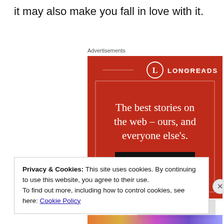it may also make you fall in love with it.
Advertisements
[Figure (illustration): Longreads advertisement banner with red background. Shows the Longreads logo (L in a circle) with text: 'The best stories on the web – ours, and everyone else's.' and a 'Start reading' button.]
Privacy & Cookies: This site uses cookies. By continuing to use this website, you agree to their use.
To find out more, including how to control cookies, see here: Cookie Policy
Close and accept